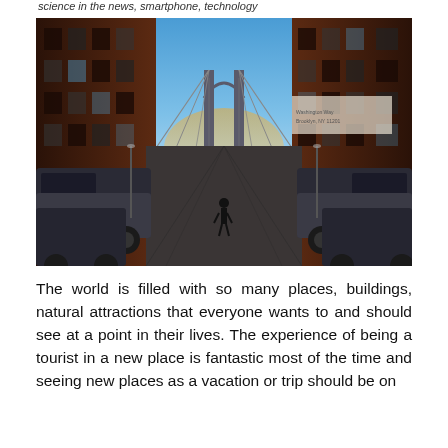science in the news, smartphone, technology
[Figure (photo): Street-level photograph of a cobblestone alley in DUMBO, Brooklyn, with the Manhattan Bridge framed between red brick buildings. Cars parked on both sides of the street, a lone pedestrian walking toward the bridge, clear blue sky.]
The world is filled with so many places, buildings, natural attractions that everyone wants to and should see at a point in their lives. The experience of being a tourist in a new place is fantastic most of the time and seeing new places as a vacation or trip should be on